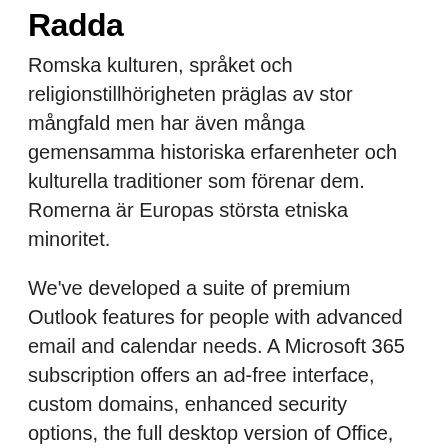Radda
Romska kulturen, språket och religionstillhörigheten präglas av stor mångfald men har även många gemensamma historiska erfarenheter och kulturella traditioner som förenar dem. Romerna är Europas största etniska minoritet.
We've developed a suite of premium Outlook features for people with advanced email and calendar needs. A Microsoft 365 subscription offers an ad-free interface, custom domains, enhanced security options, the full desktop version of Office, and 1 TB of cloud storage. Create an account or log in to Instagram - A simple, fun & creative way to capture, edit & share photos, videos & messages with friends & family. 2020-08-24 Sign in to iCloud to access your photos, videos, documents, notes,